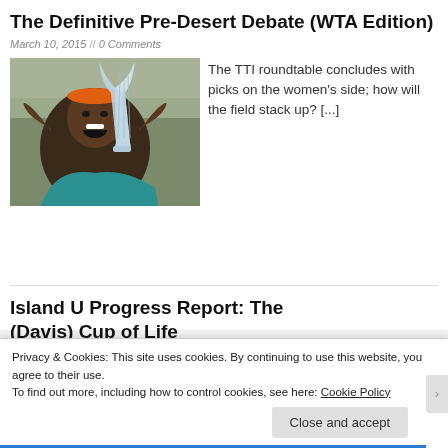The Definitive Pre-Desert Debate (WTA Edition)
March 10, 2015 // 0 Comments
[Figure (photo): Tennis player holding a large crystal trophy, wearing orange headband and teal outfit, smiling with mouth open]
The TTI roundtable concludes with picks on the women's side; how will the field stack up? [...]
Island U Progress Report: The (Davis) Cup of Life
Privacy & Cookies: This site uses cookies. By continuing to use this website, you agree to their use.
To find out more, including how to control cookies, see here: Cookie Policy
Close and accept